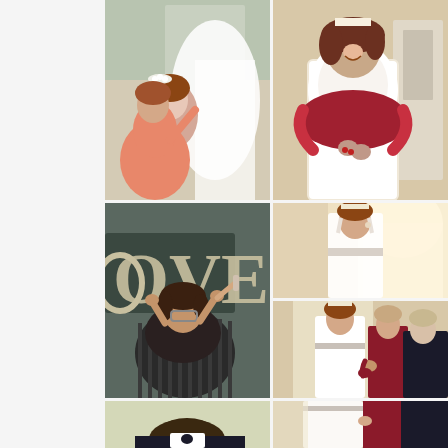[Figure (photo): Wedding preparation photo collage. Top-left: Bride in white dress with floral headpiece looking down, bridesmaid in coral/salmon dress helping. Top-right: Bride in white lace wedding dress laughing and being hugged from behind, wearing tiara. Middle-left: Woman in black dress applying makeup or adjusting glasses in front of a banner reading 'OVE' (part of LOVE). Middle-right-top: Bride in white dress with sash standing near arched window with bright light. Middle-right-bottom: Bride in white dress with belt/sash standing with two women (bridesmaid in burgundy, another in black) appearing to adjust dress. Bottom-left: Man in formal wear, partial view from above. Bottom-right: Continuation of bride with attendants scene.]